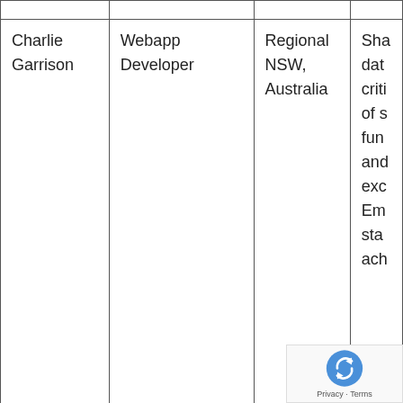| Name | Role | Location | Description |
| --- | --- | --- | --- |
| Charlie Garrison | Webapp Developer | Regional NSW, Australia | Sha dat criti of s fun and exc Em sta ach |
| Adrian Fronda |  |  |  |
| Daniel Alm | Indie Mac and iOS developer, building @TimingApp and |  |  |